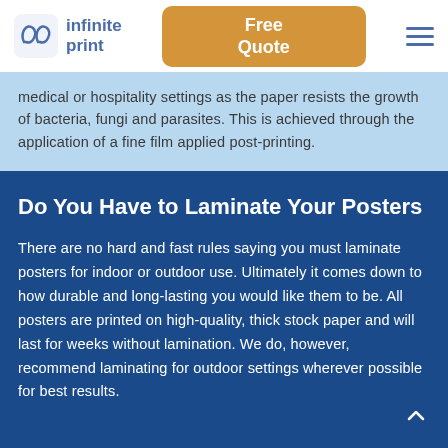infinite print | Free Quote
...Antimicrobial laminated paper is ideal for medical or hospitality settings as the paper resists the growth of bacteria, fungi and parasites. This is achieved through the application of a fine film applied post-printing.
Do You Have to Laminate Your Posters
There are no hard and fast rules saying you must laminate posters for indoor or outdoor use. Ultimately it comes down to how durable and long-lasting you would like them to be. All posters are printed on high-quality, thick stock paper and will last for weeks without lamination. We do, however, recommend laminating for outdoor settings wherever possible for best results.